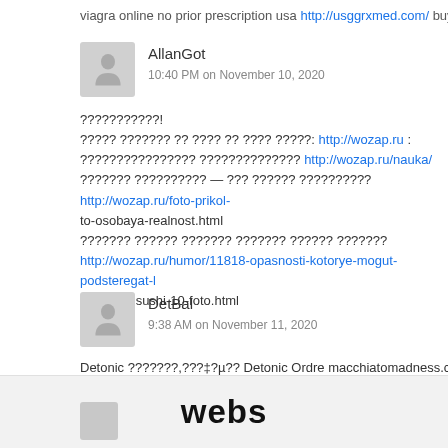viagra online no prior prescription usa http://usggrxmed.com/ buy generic via
[Figure (other): User avatar placeholder (gray silhouette icon) for AllanGot]
AllanGot
10:40 PM on November 10, 2020
???????????!
????? ??????? ?? ???? ?? ???? ?????: http://wozap.ru :
???????????????? ?????????????? http://wozap.ru/nauka/
??????? ?????????? — ??? ?????? ?????????? http://wozap.ru/foto-prikol-to-osobaya-realnost.html
??????? ?????? ??????? ??????? ?????? ???????
http://wozap.ru/humor/11818-opasnosti-kotorye-mogut-podsteregat-lyubiteley-sushi-10-foto.html
[Figure (other): User avatar placeholder (gray silhouette icon) for DetBal]
DetBal
9:38 AM on November 11, 2020
Detonic ???????,???‡?µ?? Detonic Ordre macchiatomadness.com 5c55c77
webs